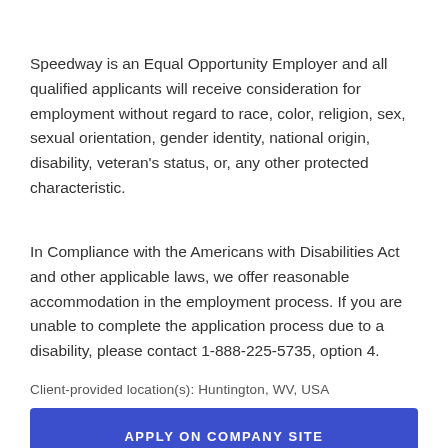Speedway is an Equal Opportunity Employer and all qualified applicants will receive consideration for employment without regard to race, color, religion, sex, sexual orientation, gender identity, national origin, disability, veteran's status, or, any other protected characteristic.
In Compliance with the Americans with Disabilities Act and other applicable laws, we offer reasonable accommodation in the employment process. If you are unable to complete the application process due to a disability, please contact 1-888-225-5735, option 4.
Client-provided location(s): Huntington, WV, USA
APPLY ON COMPANY SITE